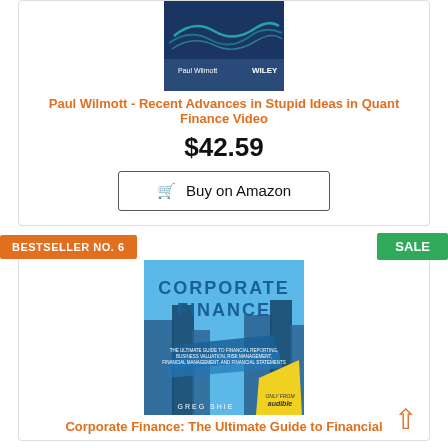[Figure (photo): Book cover: Paul Wilmott - Recent Advances in Stupid Ideas in Quant Finance Video, Wiley publisher, dark blue cover with wave patterns]
Paul Wilmott - Recent Advances in Stupid Ideas in Quant Finance Video
$42.59
Buy on Amazon
BESTSELLER NO. 6
SALE
[Figure (photo): Book cover: Corporate Finance: The Ultimate Guide to Financial Reporting, Business Valuation, Risk Management, Financial Management, and Financial Statements by Greg Shields, audible edition]
Corporate Finance: The Ultimate Guide to Financial